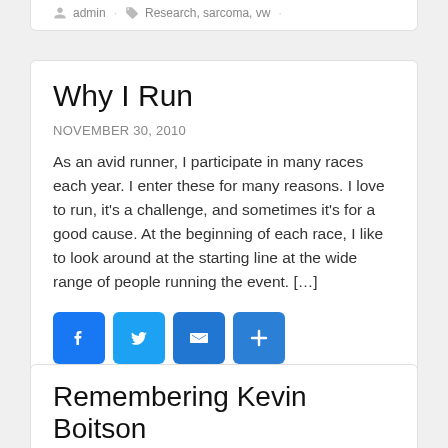admin · Research, sarcoma, vw ·
Why I Run
NOVEMBER 30, 2010
As an avid runner, I participate in many races each year.  I enter these for many reasons. I love to run, it's a challenge, and sometimes it's for a good cause. At the beginning of each race, I like to look around at the starting line at the wide range of people running the event.  […]
[Figure (infographic): Social share buttons: Facebook, Twitter, Email, Share (plus icon)]
Michelle Potter · Issues & Perspectives, Uncategorized
sarcoma ·
Remembering Kevin Boitson
NOVEMBER 11, 2010